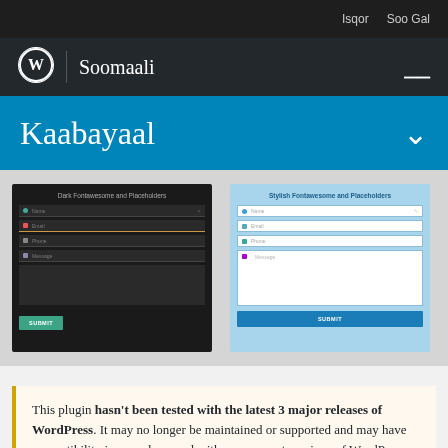Isqor  Soo Gal
Soomaali
Kaabayaal
[Figure (screenshot): Two contact form screenshots side by side: a dark-themed form labeled 'Dark Fontawesome and Placeholders' with Name, Email, Phone, Message fields and a teal SUBMIT button; and a light blue-themed form labeled 'Stylish Fontawesome and Placeholders' with Name, Email, Phone, Message fields and a blue SUBMIT button.]
This plugin hasn't been tested with the latest 3 major releases of WordPress. It may no longer be maintained or supported and may have compatibility issues when used with more recent versions of WordPress.